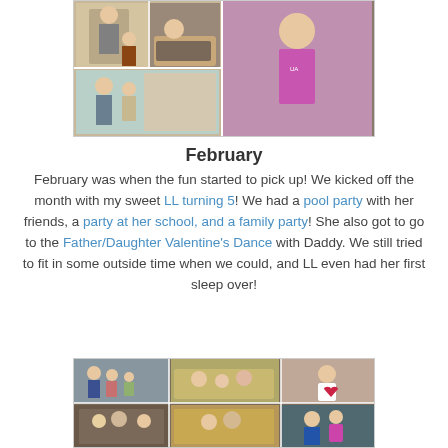[Figure (photo): Collage of family photos showing children at various occasions]
February
February was when the fun started to pick up!  We kicked off the month with my sweet LL turning 5!  We had a pool party with her friends, a party at her school, and a family party!  She also got to go to the Father/Daughter Valentine's Dance with Daddy.  We still tried to fit in some outside time when we could, and LL even had her first sleep over!
[Figure (photo): Collage of family photos from February events including birthday parties and Valentine's dance]